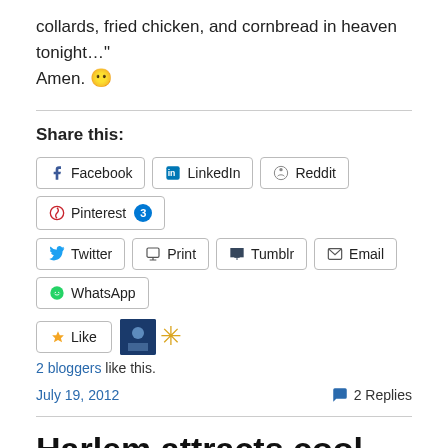collards, fried chicken, and cornbread in heaven tonight… Amen. 😶
Share this:
Facebook
LinkedIn
Reddit
Pinterest 3
Twitter
Print
Tumblr
Email
WhatsApp
Like
2 bloggers like this.
July 19, 2012   2 Replies
Harlem attracts cool crowds of NYC downtown says Guest of